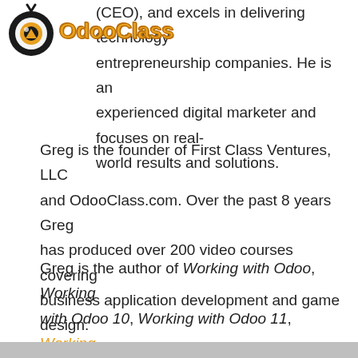[Figure (logo): OdooClass logo with eye/circle icon and orange OdooClass text]
(CEO), and excels in delivering technology entrepreneurship companies. He is an experienced digital marketer and focuses on real-world results and solutions.
Greg is the founder of First Class Ventures, LLC and OdooClass.com. Over the past 8 years Greg has produced over 200 video courses covering business application development and game design.
Greg is the author of Working with Odoo, Working with Odoo 10, Working with Odoo 11, Working with Odoo 12, and Learn Odoo.